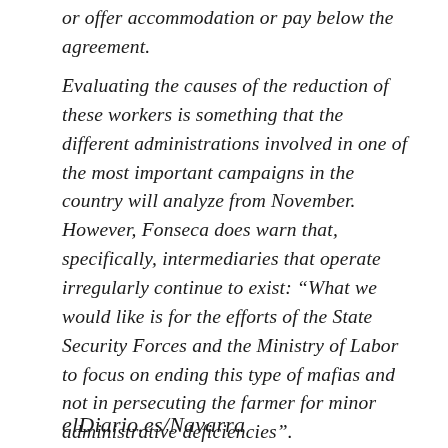or offer accommodation or pay below the agreement.
Evaluating the causes of the reduction of these workers is something that the different administrations involved in one of the most important campaigns in the country will analyze from November. However, Fonseca does warn that, specifically, intermediaries that operate irregularly continue to exist: “What we would like is for the efforts of the State Security Forces and the Ministry of Labor to focus on ending this type of mafias and not in persecuting the farmer for minor administrative deficiencies”.
elDiario.es/Navarra